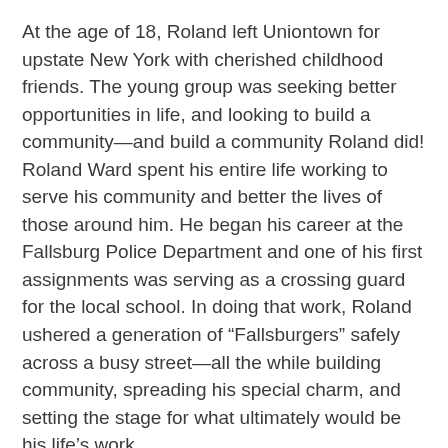At the age of 18, Roland left Uniontown for upstate New York with cherished childhood friends. The young group was seeking better opportunities in life, and looking to build a community—and build a community Roland did! Roland Ward spent his entire life working to serve his community and better the lives of those around him. He began his career at the Fallsburg Police Department and one of his first assignments was serving as a crossing guard for the local school. In doing that work, Roland ushered a generation of “Fallsburgers” safely across a busy street—all the while building community, spreading his special charm, and setting the stage for what ultimately would be his life’s work.